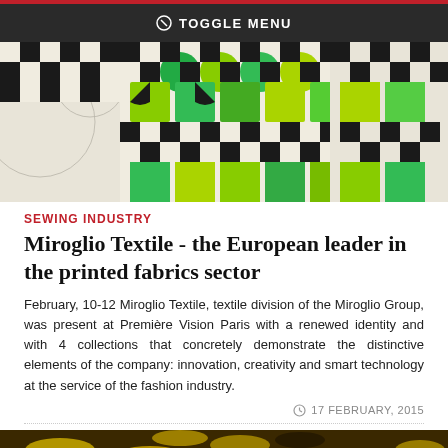TOGGLE MENU
[Figure (photo): Textile fabric design showing geometric black-and-white checkerboard pattern mixed with green and yellow-green leaf/flower motifs on a light background.]
SEWING INDUSTRY
Miroglio Textile - the European leader in the printed fabrics sector
February, 10-12 Miroglio Textile, textile division of the Miroglio Group, was present at Première Vision Paris with a renewed identity and with 4 collections that concretely demonstrate the distinctive elements of the company: innovation, creativity and smart technology at the service of the fashion industry.
17 FEBRUARY, 2015
[Figure (photo): Close-up photo of a yellow and dark brown/black textured fabric or textile material.]